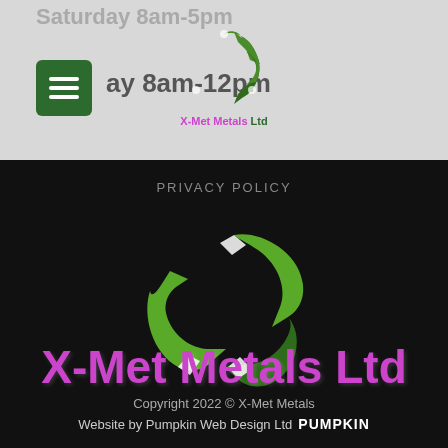Saturday 8am-5pm
ay 8am-12pm
[Figure (logo): X-Met Metals Ltd logo – triangular recycling-arrow symbol in green with white gaps, company name below in purple/green text]
PRIVACY POLICY
[Figure (logo): Large X-Met Metals Ltd logo on black background – large green triangular recycling arrows symbol, company name in large purple text below]
Copyright 2022 © X-Met Metals
Website by Pumpkin Web Design Ltd PUMPKIN